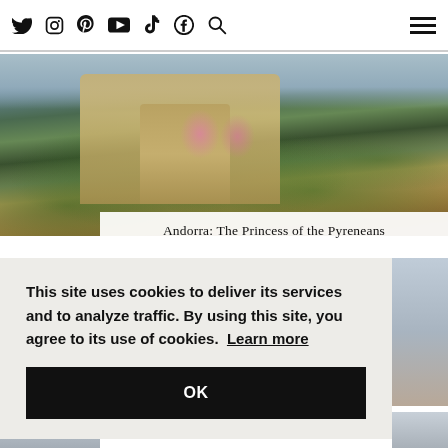Navigation bar with social media icons: Twitter, Instagram, Pinterest, YouTube, TikTok, Facebook, Search, and hamburger menu
[Figure (photo): Aerial/elevated view of Andorra la Vella with stone and yellow-ochre buildings, a Romanesque church, lush green trees and flowering pink trees, with mountains in the background]
Andorra: The Princess of the Pyreneans
[Figure (photo): Partial view of a house with brick/stone roof and sky background, partially obscured by cookie consent banner]
This site uses cookies to deliver its services and to analyze traffic. By using this site, you agree to its use of cookies.  Learn more
OK
The Great Holiday Prep: Getting Your Home Ready